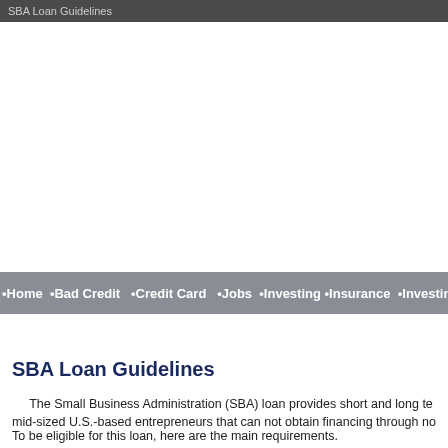SBA Loan Guidelines
•Home •Bad Credit •Credit Card •Jobs •Investing •Insurance •Investing •Loans •Loan R
SBA Loan Guidelines
The Small Business Administration (SBA) loan provides short and long te mid-sized U.S.-based entrepreneurs that can not obtain financing through no
To be eligible for this loan, here are the main requirements.